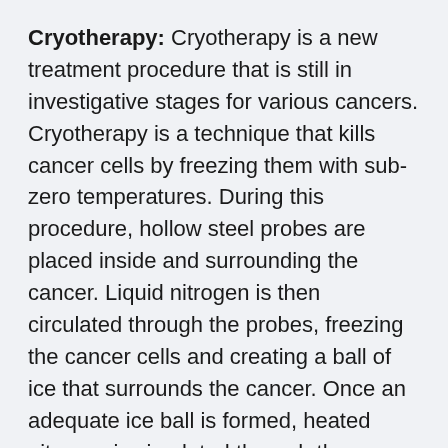Cryotherapy: Cryotherapy is a new treatment procedure that is still in investigative stages for various cancers. Cryotherapy is a technique that kills cancer cells by freezing them with sub-zero temperatures. During this procedure, hollow steel probes are placed inside and surrounding the cancer. Liquid nitrogen is then circulated through the probes, freezing the cancer cells and creating a ball of ice that surrounds the cancer. Once an adequate ice ball is formed, heated nitrogen is circulated through the probes. This process is then repeated.
Researchers from France conducted a clinical trial evaluating cryotherapy for the treatment of early stage lung cancer. Cryotherapy was performed through a rigid bronchoscope (a lighted tube that is placed into the bronchi). In this trial, 35 patients with